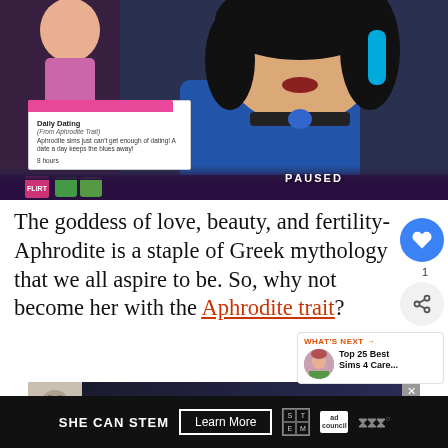[Figure (screenshot): Screenshot from The Sims 4 showing two female sim characters, one in a blue outfit with black choker necklace. A tooltip box shows 'Daily Dating (From Aphrodite Trait)' with description 'Aphrodite sims just can't get enough of dating! A date a day keeps the blues away! 8 hours'. The game is paused (PAUSED text visible). Bottom HUD strip visible.]
The goddess of love, beauty, and fertility- Aphrodite is a staple of Greek mythology that we all aspire to be. So, why not become her with the Aphrodite trait?
[Figure (screenshot): Advertisement banner: Give Me Those (partial text), with a pug dog image on a dark background]
SHE CAN STEM   Learn More
WHAT'S NEXT → Top 25 Best Sims 4 Care...